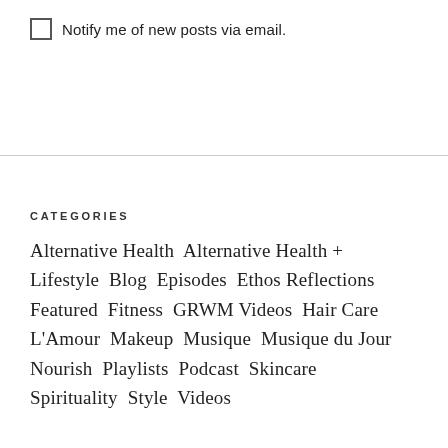Notify me of new posts via email.
CATEGORIES
Alternative Health  Alternative Health + Lifestyle  Blog  Episodes  Ethos Reflections  Featured  Fitness  GRWM Videos  Hair Care  L'Amour  Makeup  Musique  Musique du Jour  Nourish  Playlists  Podcast  Skincare  Spirituality  Style  Videos